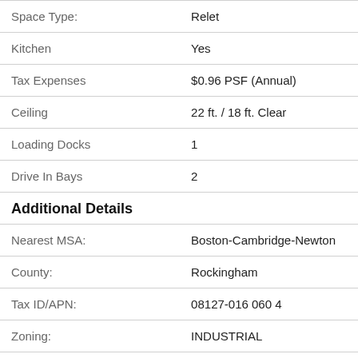| Field | Value |
| --- | --- |
| Space Type: | Relet |
| Kitchen | Yes |
| Tax Expenses | $0.96 PSF (Annual) |
| Ceiling | 22 ft. / 18 ft. Clear |
| Loading Docks | 1 |
| Drive In Bays | 2 |
Additional Details
| Field | Value |
| --- | --- |
| Nearest MSA: | Boston-Cambridge-Newton |
| County: | Rockingham |
| Tax ID/APN: | 08127-016 060 4 |
| Zoning: | INDUSTRIAL |
| Tenancy: | Single Tenant |
| Total Number of | 1 |